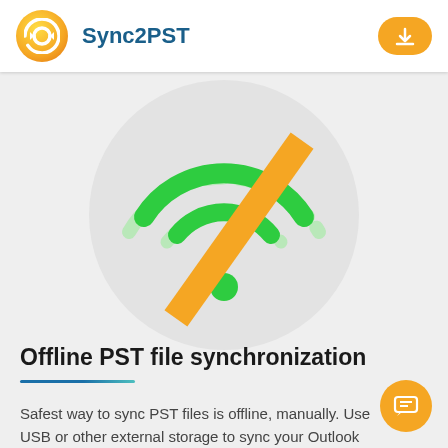Sync2PST
[Figure (illustration): Wifi/no-wifi icon with green wifi arcs and an orange diagonal slash across them, displayed on a light grey circular background]
Offline PST file synchronization
Safest way to sync PST files is offline, manually. Use USB or other external storage to sync your Outlook PST files.